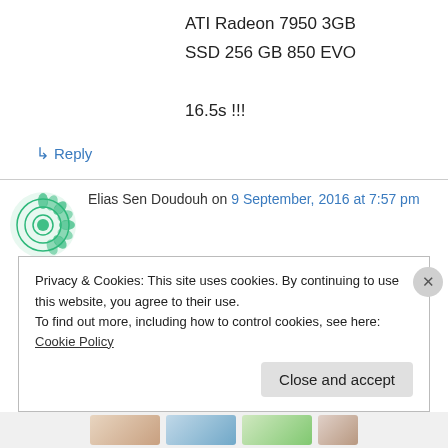ATI Radeon 7950 3GB
SSD 256 GB 850 EVO

16.5s !!!
↳ Reply
Elias Sen Doudouh on 9 September, 2016 at 7:57 pm
A new best right here!
10.8 seconds on a i7-6700K, 32GB DDR3
Privacy & Cookies: This site uses cookies. By continuing to use this website, you agree to their use.
To find out more, including how to control cookies, see here: Cookie Policy
Close and accept